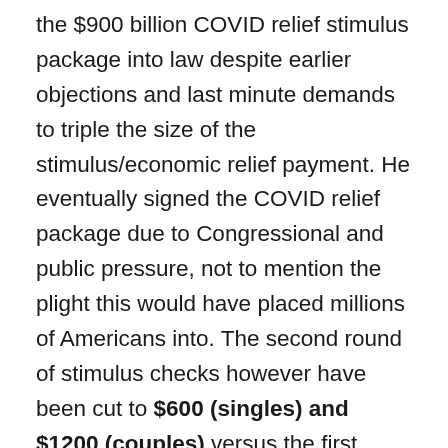the $900 billion COVID relief stimulus package into law despite earlier objections and last minute demands to triple the size of the stimulus/economic relief payment. He eventually signed the COVID relief package due to Congressional and public pressure, not to mention the plight this would have placed millions of Americans into. The second round of stimulus checks however have been cut to $600 (singles) and $1200 (couples) versus the first round of economic impact payments of $1200 ($2400 for couples). This was done in order to keep the overall COVID relief bill price-tag to below $1 trillion to get passed through the Republican controlled Senate. The dependent